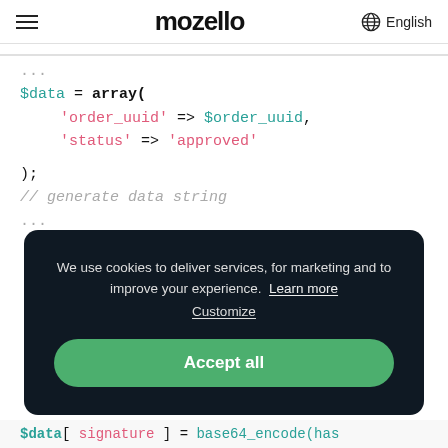mozello  English
[Figure (screenshot): PHP code block showing: $data = array( 'order_uuid' => $order_uuid, 'status' => 'approved' ); // generate data string]
We use cookies to deliver services, for marketing and to improve your experience.  Learn more
Customize
Accept all
[Figure (screenshot): Partially visible code line: $data[ signature ] = base64_encode(has]